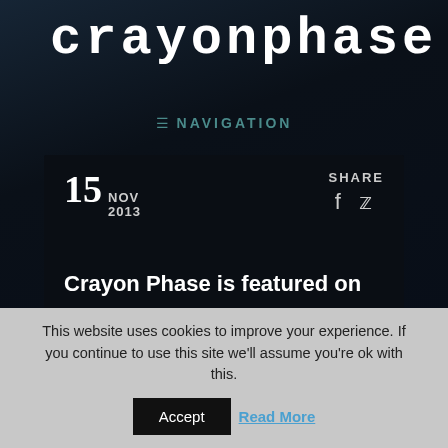crayonphase
NAVIGATION
15 NOV 2013
SHARE
Crayon Phase is featured on
This website uses cookies to improve your experience. If you continue to use this site we'll assume you're ok with this.
Accept  Read More